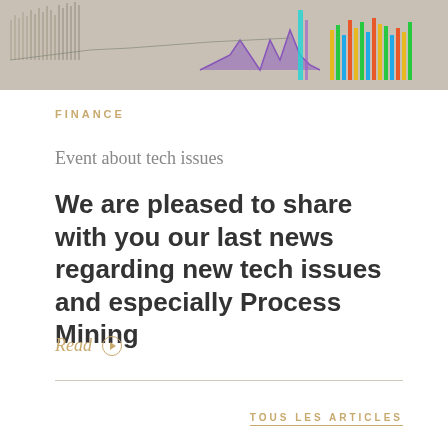[Figure (photo): Photograph of a computer monitor displaying multiple financial charts and graphs including bar charts and line charts in various colors]
FINANCE
Event about tech issues
We are pleased to share with you our last news regarding new tech issues and especially Process Mining
Read ⊙
TOUS LES ARTICLES